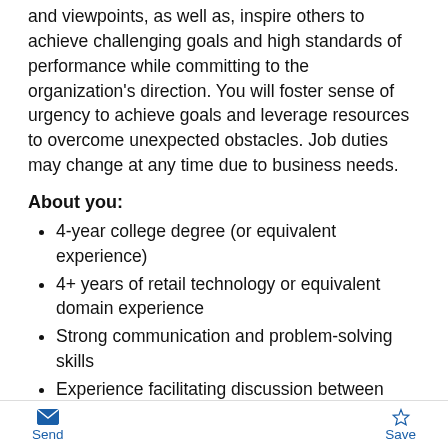and viewpoints, as well as, inspire others to achieve challenging goals and high standards of performance while committing to the organization's direction. You will foster sense of urgency to achieve goals and leverage resources to overcome unexpected obstacles. Job duties may change at any time due to business needs.
About you:
4-year college degree (or equivalent experience)
4+ years of retail technology or equivalent domain experience
Strong communication and problem-solving skills
Experience facilitating discussion between business and technology teams
Experience working in an agile environment (e.g. user stories, iterative development, working with scrum teams, sprints, personas, etc.)
Send  Save